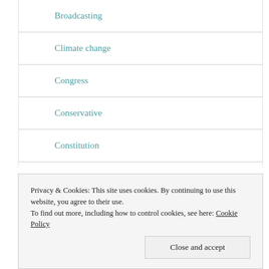Broadcasting
Climate change
Congress
Conservative
Constitution
Coronavirus
COVID19
Privacy & Cookies: This site uses cookies. By continuing to use this website, you agree to their use.
To find out more, including how to control cookies, see here: Cookie Policy
Close and accept